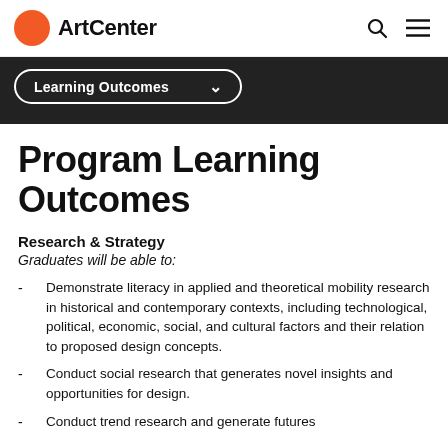ArtCenter
Learning Outcomes
Program Learning Outcomes
Research & Strategy
Graduates will be able to:
Demonstrate literacy in applied and theoretical mobility research in historical and contemporary contexts, including technological, political, economic, social, and cultural factors and their relation to proposed design concepts.
Conduct social research that generates novel insights and opportunities for design.
Conduct trend research and generate futures